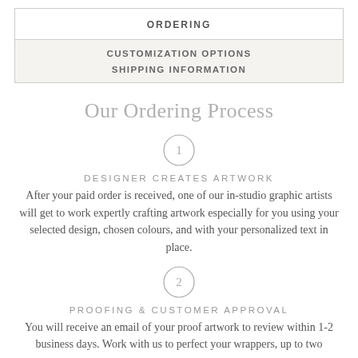ORDERING
CUSTOMIZATION OPTIONS
SHIPPING INFORMATION
Our Ordering Process
[Figure (infographic): Step 1 circle icon with number 1]
DESIGNER CREATES ARTWORK
After your paid order is received, one of our in-studio graphic artists will get to work expertly crafting artwork especially for you using your selected design, chosen colours, and with your personalized text in place.
[Figure (infographic): Step 2 circle icon with number 2]
PROOFING & CUSTOMER APPROVAL
You will receive an email of your proof artwork to review within 1-2 business days. Work with us to perfect your wrappers, up to two